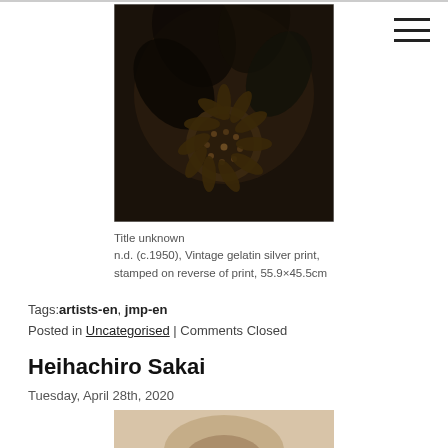[Figure (photo): Sepia-toned vintage photograph of a sunflower with dark background and large petals, close-up view]
Title unknown
n.d. (c.1950), Vintage gelatin silver print, stamped on reverse of print, 55.9×45.5cm
Tags:artists-en, jmp-en
Posted in Uncategorised | Comments Closed
Heihachiro Sakai
Tuesday, April 28th, 2020
[Figure (photo): Partial view of a sepia/beige-toned vintage portrait photograph, cropped at bottom of page]